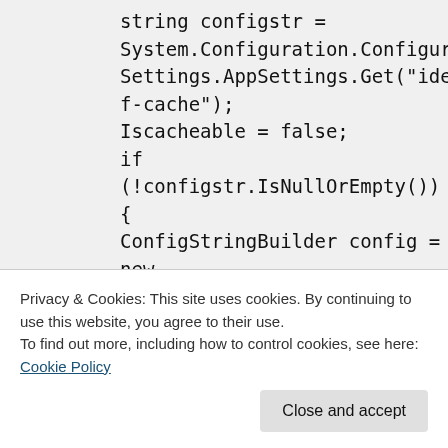string configstr =
System.Configuration.Configuration
Settings.AppSettings.Get("idealink.ef-cache");
Iscacheable = false;
if (!configstr.IsNullOrEmpty())
{
ConfigStringBuilder config = new
ConfigStringBuilder(configstr);

string provider =
{
Privacy & Cookies: This site uses cookies. By continuing to use this website, you agree to their use.
To find out more, including how to control cookies, see here: Cookie Policy
Close and accept